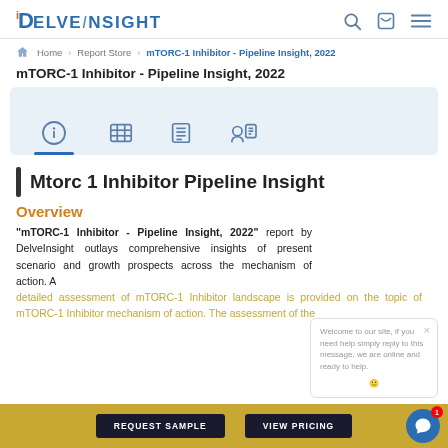DelveInsight
Home > Report Store > mTORC-1 Inhibitor - Pipeline Insight, 2022
mTORC-1 Inhibitor - Pipeline Insight, 2022
Mtorc 1 Inhibitor Pipeline Insight
Overview
"mTORC-1 Inhibitor - Pipeline Insight, 2022" report by DelveInsight outlays comprehensive insights of present scenario and growth prospects across the mechanism of action. A detailed assessment of mTORC-1 Inhibitor landscape is provided on the topic of mTORC-1 Inhibitor mechanism of action. The assessment of the